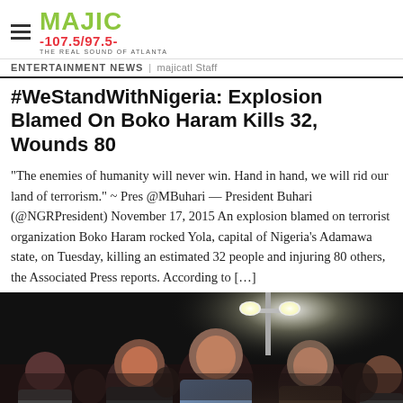MAJIC 107.5/97.5 THE REAL SOUND OF ATLANTA
ENTERTAINMENT NEWS | majicatl Staff
#WeStandWithNigeria: Explosion Blamed On Boko Haram Kills 32, Wounds 80
“The enemies of humanity will never win. Hand in hand, we will rid our land of terrorism.” ~ Pres @MBuhari — President Buhari (@NGRPresident) November 17, 2015 An explosion blamed on terrorist organization Boko Haram rocked Yola, capital of Nigeria’s Adamawa state, on Tuesday, killing an estimated 32 people and injuring 80 others, the Associated Press reports. According to […]
[Figure (photo): Nighttime press conference photo showing several men in front of a light pole and floodlights]